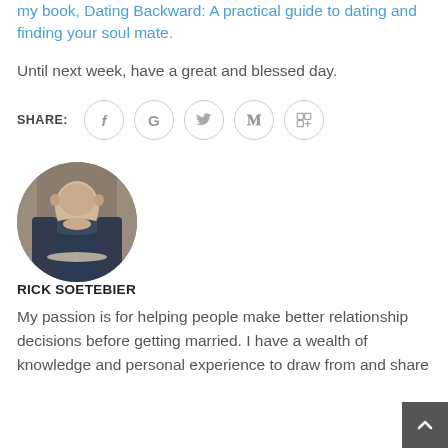my book, Dating Backward: A practical guide to dating and finding your soul mate.
Until next week, have a great and blessed day.
[Figure (other): Social share icons row: SHARE: label followed by circular icon buttons for Facebook (f), Google (G), Twitter (bird), Pinterest (P), LinkedIn (in)]
[Figure (photo): Circular headshot of Rick Soetebier, a man in a dark blazer sitting with hands folded, photographed against a stone column background.]
RICK SOETEBIER
My passion is for helping people make better relationship decisions before getting married. I have a wealth of knowledge and personal experience to draw from and share